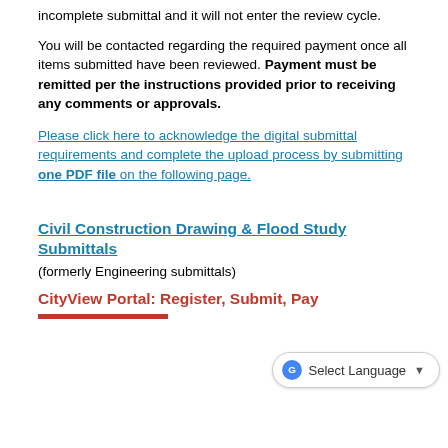incomplete submittal and it will not enter the review cycle.
You will be contacted regarding the required payment once all items submitted have been reviewed. Payment must be remitted per the instructions provided prior to receiving any comments or approvals.
Please click here to acknowledge the digital submittal requirements and complete the upload process by submitting one PDF file on the following page.
Civil Construction Drawing & Flood Study Submittals
(formerly Engineering submittals)
CityView Portal: Register, Submit, Pay